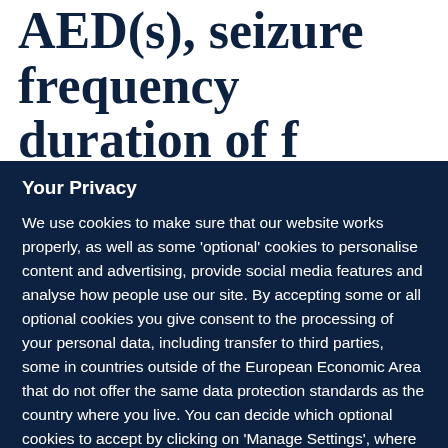AED(s), seizure frequency
duration of f
Your Privacy
We use cookies to make sure that our website works properly, as well as some ‘optional’ cookies to personalise content and advertising, provide social media features and analyse how people use our site. By accepting some or all optional cookies you give consent to the processing of your personal data, including transfer to third parties, some in countries outside of the European Economic Area that do not offer the same data protection standards as the country where you live. You can decide which optional cookies to accept by clicking on ‘Manage Settings’, where you can also find more information about how your personal data is processed. Further information can be found in our privacy policy.
Accept all cookies
Manage preferences